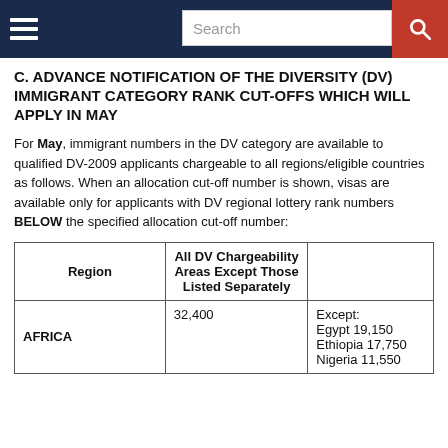Search
C. ADVANCE NOTIFICATION OF THE DIVERSITY (DV) IMMIGRANT CATEGORY RANK CUT-OFFS WHICH WILL APPLY IN MAY
For May, immigrant numbers in the DV category are available to qualified DV-2009 applicants chargeable to all regions/eligible countries as follows. When an allocation cut-off number is shown, visas are available only for applicants with DV regional lottery rank numbers BELOW the specified allocation cut-off number:
| Region | All DV Chargeability Areas Except Those Listed Separately |  |
| --- | --- | --- |
| AFRICA | 32,400 | Except:
Egypt 19,150
Ethiopia 17,750
Nigeria 11,550 |